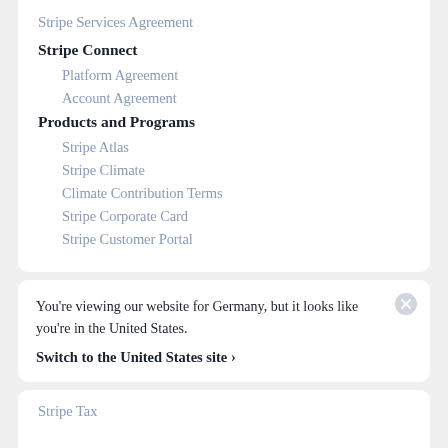Stripe Services Agreement
Stripe Connect
Platform Agreement
Account Agreement
Products and Programs
Stripe Atlas
Stripe Climate
Climate Contribution Terms
Stripe Corporate Card
Stripe Customer Portal
You're viewing our website for Germany, but it looks like you're in the United States.
Switch to the United States site ›
Stripe Tax